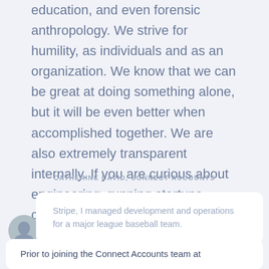education, and even forensic anthropology. We strive for humility, as individuals and as an organization. We know that we can be great at doing something alone, but it will be even better when accomplished together. We are also extremely transparent internally. If you are curious about engineering, running startups, corporate strategy, or the global economy, you'll have experts to learn from. And they're eager to learn from you.
[Figure (photo): Avatar photo of a person (Catherine David) with a speech bubble quote saying 'Stripe, I managed development and operations for a major league baseball team.']
CATHERINE DAVID, CONNECT ACCOUNTS
Prior to joining the Connect Accounts team at